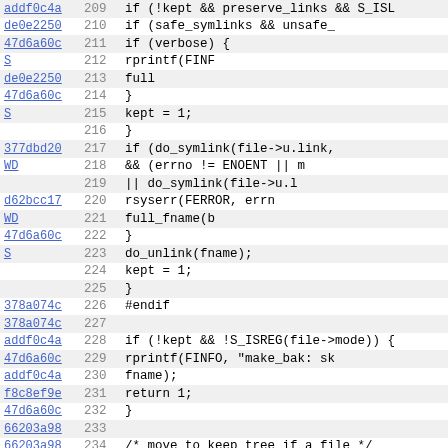| hash | line | code |
| --- | --- | --- |
| addf0c4a | 209 | if (!kept && preserve_links && S_ISL |
| de0e2250 | 210 |     if (safe_symlinks && unsafe_ |
| 47d6a60c | 211 |         if (verbose) { |
| S | 212 |             rprintf(FINF |
| de0e2250 | 213 |                 full |
| 47d6a60c | 214 |             } |
| S | 215 |             kept = 1; |
|  | 216 |         } |
| 377dbd20 | 217 |         if (do_symlink(file->u.link, |
| WD | 218 |             && (errno != ENOENT || m |
|  | 219 |             || do_symlink(file->u.l |
| d62bcc17 | 220 |             rsyserr(FERROR, errn |
| WD | 221 |                 full_fname(b |
| 47d6a60c | 222 |         } |
| S | 223 |         do_unlink(fname); |
|  | 224 |         kept = 1; |
|  | 225 |     } |
| 378a074c | 226 | #endif |
| 378a074c | 227 |  |
| addf0c4a | 228 |     if (!kept && !S_ISREG(file->mode)) { |
| 47d6a60c | 229 |         rprintf(FINFO, "make_bak: sk |
| addf0c4a | 230 |                 fname); |
| f8c8ef9e | 231 |         return 1; |
| 47d6a60c | 232 |     } |
| 66203a98 | 233 |  |
| 66203a98 | 234 |     /* move to keep tree if a file */ |
| addf0c4a | 235 |     if (!kept) { |
| 9d78ed31 | 236 |         if (robust_move(fname, backu |
| d62bcc17 | 237 |             rsyserr(FERROR, errn |
| WD | 238 |                 full_fname(f |
| 394bcdb5 | 239 |     } else if (st.st_nlink > 1) |
| WD | 240 |         /* If someone has h |